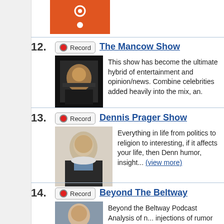[Figure (photo): Orange image with two circular icons, partially visible at top]
12. Record — The Mancow Show
This show has become the ultimate hybrid of entertainment and opinion/news. Celebrities added heavily into the mix, an...
13. Record — Dennis Prager Show
Everything in life from politics to religion to interesting, if it affects your life, then Denn... humor, insight... (view more)
14. Record — Beyond The Beltway
Beyond the Beltway Podcast Analysis of n... injections of rumor and innuendo, all offer... pundits, power brokers, public serva... (vi...